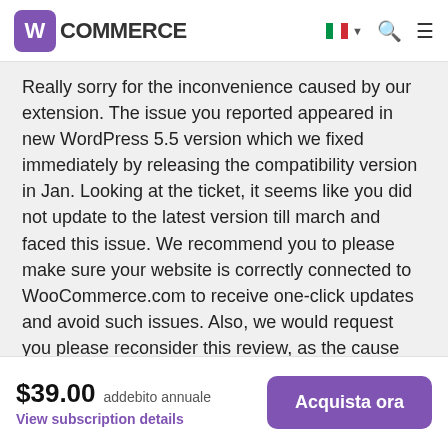WooCommerce
Really sorry for the inconvenience caused by our extension. The issue you reported appeared in new WordPress 5.5 version which we fixed immediately by releasing the compatibility version in Jan. Looking at the ticket, it seems like you did not update to the latest version till march and faced this issue. We recommend you to please make sure your website is correctly connected to WooCommerce.com to receive one-click updates and avoid such issues. Also, we would request you please reconsider this review, as the cause was
$39.00 addebito annuale View subscription details Acquista ora